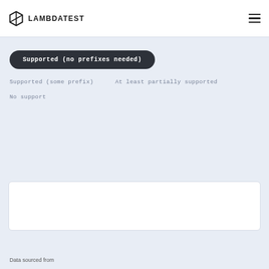LAMBDATEST
Supported (no prefixes needed)
Supported (some prefix)
At least partially supported
No support
Data sourced from